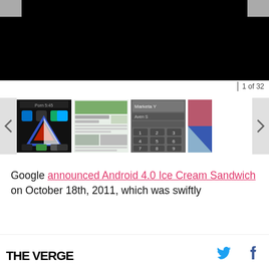[Figure (screenshot): Large black main image area showing Android 4.0 Ice Cream Sandwich screenshot, with navigation arrows on left and right]
1 of 32
[Figure (screenshot): Thumbnail strip with four screenshots of Android 4.0 Ice Cream Sandwich: home screen with app icons and Verge logo wallpaper, article/web page screenshot, contacts/dialer screenshot, and partial colorful screenshot]
Google announced Android 4.0 Ice Cream Sandwich on October 18th, 2011, which was swiftly
THE VERGE